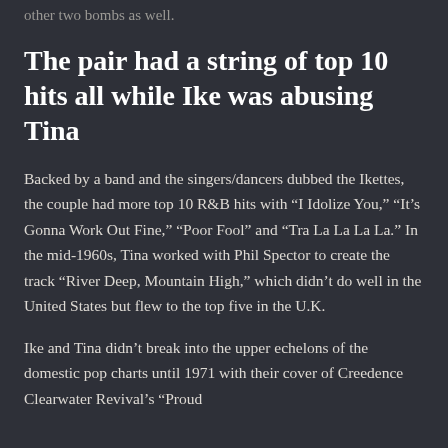other two bombs as well.
The pair had a string of top 10 hits all while Ike was abusing Tina
Backed by a band and the singers/dancers dubbed the Ikettes, the couple had more top 10 R&B hits with “I Idolize You,” “It’s Gonna Work Out Fine,” “Poor Fool” and “Tra La La La La.” In the mid-1960s, Tina worked with Phil Spector to create the track “River Deep, Mountain High,” which didn’t do well in the United States but flew to the top five in the U.K.
Ike and Tina didn’t break into the upper echelons of the domestic pop charts until 1971 with their cover of Creedence Clearwater Revival’s “Proud